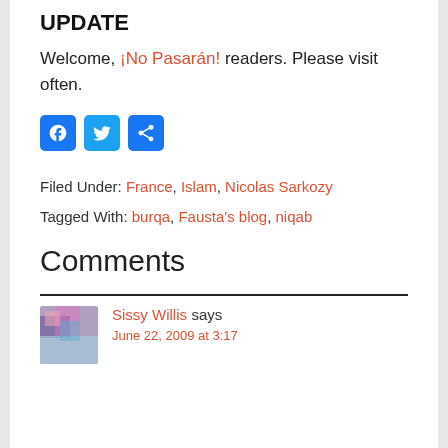UPDATE
Welcome, ¡No Pasarán! readers. Please visit often.
[Figure (other): Social sharing buttons: Facebook, Twitter, Share]
Filed Under: France, Islam, Nicolas Sarkozy
Tagged With: burqa, Fausta's blog, niqab
Comments
Sissy Willis says